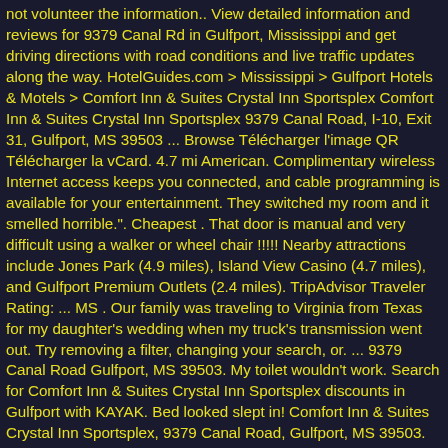not volunteer the information.. View detailed information and reviews for 9379 Canal Rd in Gulfport, Mississippi and get driving directions with road conditions and live traffic updates along the way. HotelGuides.com > Mississippi > Gulfport Hotels & Motels > Comfort Inn & Suites Crystal Inn Sportsplex Comfort Inn & Suites Crystal Inn Sportsplex 9379 Canal Road, I-10, Exit 31, Gulfport, MS 39503 ... Browse Télécharger l'image QR Télécharger la vCard. 4.7 mi American. Complimentary wireless Internet access keeps you connected, and cable programming is available for your entertainment. They switched my room and it smelled horrible.". Cheapest . That door is manual and very difficult using a walker or wheel chair !!!!! Nearby attractions include Jones Park (4.9 miles), Island View Casino (4.7 miles), and Gulfport Premium Outlets (2.4 miles). TripAdvisor Traveler Rating: ... MS . Our family was traveling to Virginia from Texas for my daughter's wedding when my truck's transmission went out. Try removing a filter, changing your search, or. ... 9379 Canal Road Gulfport, MS 39503. My toilet wouldn't work. Search for Comfort Inn & Suites Crystal Inn Sportsplex discounts in Gulfport with KAYAK. Bed looked slept in! Comfort Inn & Suites Crystal Inn Sportsplex, 9379 Canal Road, Gulfport, MS 39503. Check-In Time: 3:00 PM; Check-Out Time ... 108; Property Description. More Info Gallery Reviews. Gulfport, MS 39503-8975 (228) 822-9600. Read reviews. Best prices found by KAYAK users in the past 72 hours. Does Comfort Inn & Suites Crystal Inn Sportsplex offer complimentary amenities? Copyright hotel information and photos are provided by...